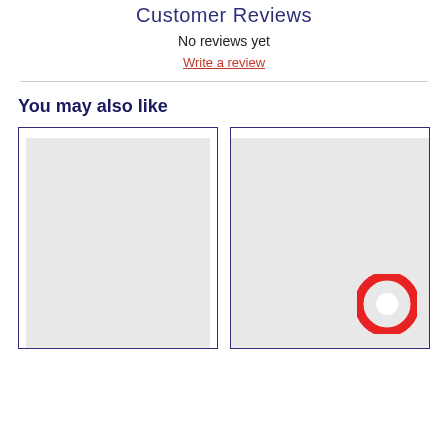Customer Reviews
No reviews yet
Write a review
You may also like
[Figure (other): Two product card placeholders with grey backgrounds; the right card contains a red circular chat/message logo in the bottom-right corner.]